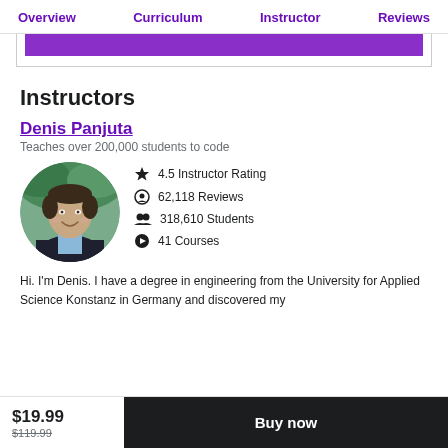Overview  Curriculum  Instructor  Reviews
[Figure (other): Purple button/bar UI element partially visible]
Instructors
Denis Panjuta
Teaches over 200,000 students to code
[Figure (photo): Circular profile photo of Denis Panjuta, a man in a dark blazer and light blue shirt, smiling, with trees in background]
4.5 Instructor Rating
62,118 Reviews
318,610 Students
41 Courses
Hi. I'm Denis. I have a degree in engineering from the University for Applied Science Konstanz in Germany and discovered my
$19.99  $119.99  Buy now